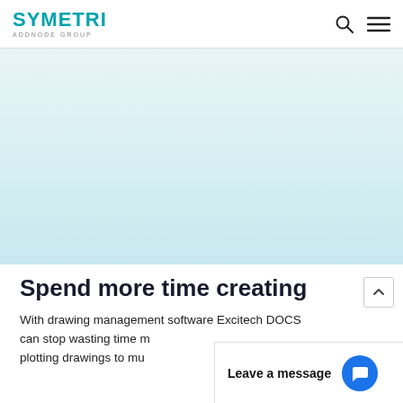SYMETRI ADDNODE GROUP
[Figure (other): Light blue-toned hero background area, appears to be a decorative/illustrative background for a webpage hero section.]
Spend more time creating
With drawing management software Excitech DOCS can stop wasting time r... plotting drawings to mu...
Leave a message